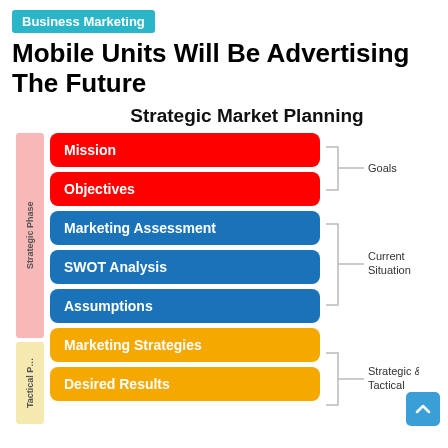Business Marketing
Mobile Units Will Be Advertising The Future
[Figure (flowchart): Strategic Market Planning diagram showing a flowchart with phases: Strategic Phase (pink sidebar) containing Mission, Objectives (red boxes) grouped under Goals bracket; Marketing Assessment, SWOT Analysis, Assumptions (blue boxes) grouped under Current Situation bracket; and Tactical Phase (yellow sidebar) containing Marketing Strategies and Desired Results (gold boxes) grouped under Strategic & Tactical bracket.]